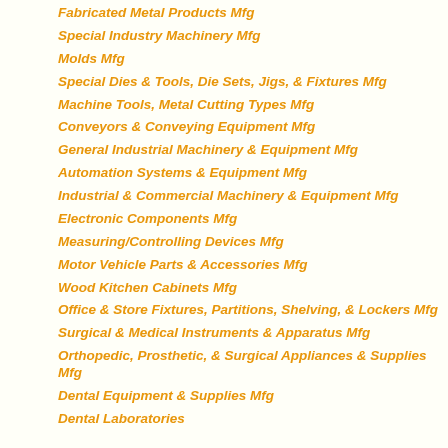Fabricated Metal Products Mfg
Special Industry Machinery Mfg
Molds Mfg
Special Dies & Tools, Die Sets, Jigs, & Fixtures Mfg
Machine Tools, Metal Cutting Types Mfg
Conveyors & Conveying Equipment Mfg
General Industrial Machinery & Equipment Mfg
Automation Systems & Equipment Mfg
Industrial & Commercial Machinery & Equipment Mfg
Electronic Components Mfg
Measuring/Controlling Devices Mfg
Motor Vehicle Parts & Accessories Mfg
Wood Kitchen Cabinets Mfg
Office & Store Fixtures, Partitions, Shelving, & Lockers Mfg
Surgical & Medical Instruments & Apparatus Mfg
Orthopedic, Prosthetic, & Surgical Appliances & Supplies Mfg
Dental Equipment & Supplies Mfg
Dental Laboratories